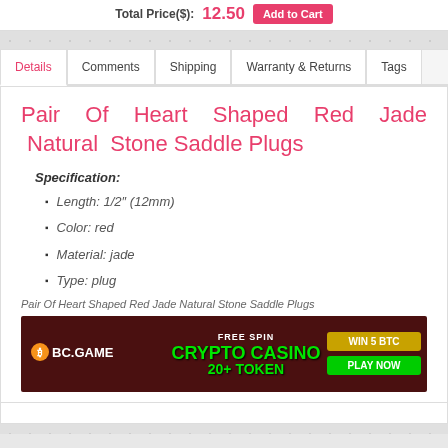Total Price($): 12.50 Add to Cart
Details | Comments | Shipping | Warranty & Returns | Tags
Pair Of Heart Shaped Red Jade Natural Stone Saddle Plugs
Specification:
Length: 1/2" (12mm)
Color: red
Material: jade
Type: plug
Pair Of Heart Shaped Red Jade Natural Stone Saddle Plugs
[Figure (illustration): BC.GAME crypto casino advertisement banner. Dark red background with green text reading FREE SPIN, CRYPTO CASINO, 20+ TOKEN. Right side shows WIN 5 BTC and PLAY NOW buttons. Features a cartoon frog character.]